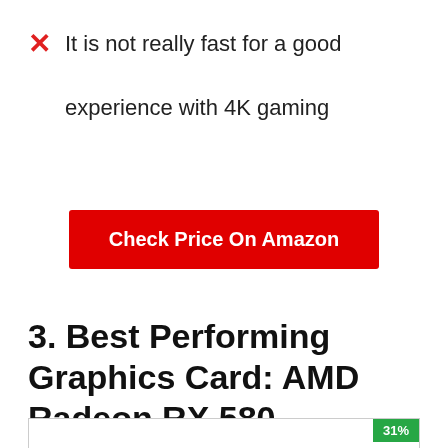It is not really fast for a good experience with 4K gaming
Check Price On Amazon
3. Best Performing Graphics Card: AMD Radeon RX 580
[Figure (photo): Image of AMD Radeon RX 580 graphics card with a 31% badge in the top right corner]